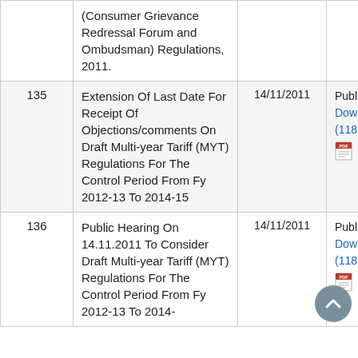| # | Title | Date | Action |
| --- | --- | --- | --- |
|  | (Consumer Grievance Redressal Forum and Ombudsman) Regulations, 2011. |  |  |
| 135 | Extension Of Last Date For Receipt Of Objections/comments On Draft Multi-year Tariff (MYT) Regulations For The Control Period From Fy 2012-13 To 2014-15 | 14/11/2011 | Public Notice Download (118.36 KB) |
| 136 | Public Hearing On 14.11.2011 To Consider Draft Multi-year Tariff (MYT) Regulations For The Control Period From Fy 2012-13 To 2014- | 14/11/2011 | Public Notice Download (118.36 KB) |